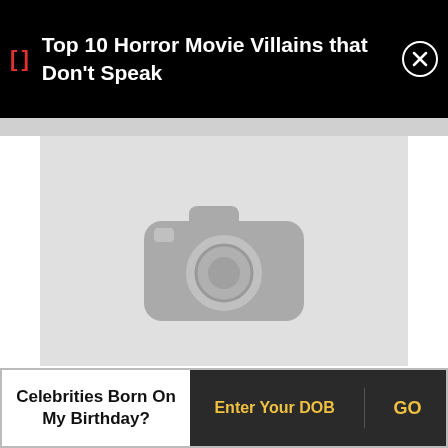Top 10 Horror Movie Villains that Don't Speak
[Figure (photo): Gray image placeholder showing a camera icon silhouette on light gray background]
[Figure (infographic): Two voting buttons: blue upvote button with up arrow (score: 5) and dark red downvote button with down arrow (score: 1)]
Celebrities Born On My Birthday?
Enter Your DOB  GO